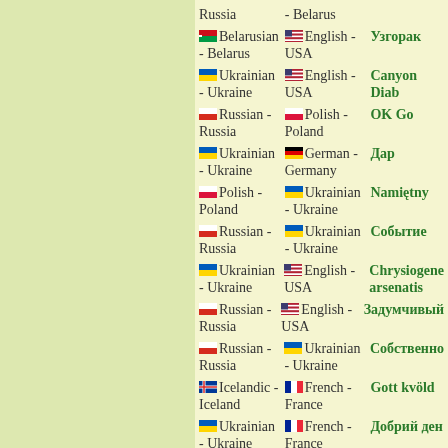Russia - Belarus
Belarusian - Belarus | English - USA | Узгорак
Ukrainian - Ukraine | English - USA | Canyon Diab
Russian - Russia | Polish - Poland | OK Go
Ukrainian - Ukraine | German - Germany | Дар
Polish - Poland | Ukrainian - Ukraine | Namiętny
Russian - Russia | Ukrainian - Ukraine | Событие
Ukrainian - Ukraine | English - USA | Chrysiogene arsenatis
Russian - Russia | English - USA | Задумчивый
Russian - Russia | Ukrainian - Ukraine | Собственно
Icelandic - Iceland | French - France | Gott kvöld
Ukrainian - Ukraine | French - France | Добрий ден
Polish - ... | Ukrainian - ... | Spełnienie